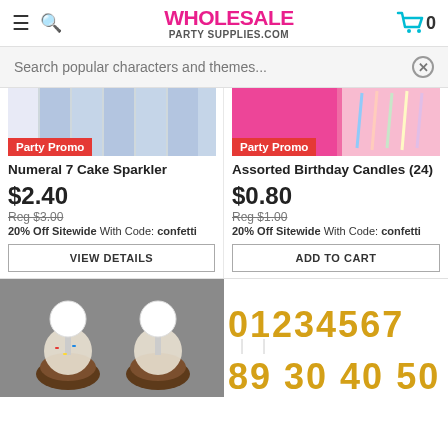WHOLESALE PARTY SUPPLIES.COM
Search popular characters and themes...
[Figure (photo): Product image for Numeral 7 Cake Sparkler with Party Promo badge]
Numeral 7 Cake Sparkler
$2.40
Reg $3.00
20% Off Sitewide With Code: confetti
VIEW DETAILS
[Figure (photo): Product image for Assorted Birthday Candles with Party Promo badge]
Assorted Birthday Candles (24)
$0.80
Reg $1.00
20% Off Sitewide With Code: confetti
ADD TO CART
[Figure (photo): Cupcake cake toppers on sticks with chocolate cupcakes on gray background]
[Figure (photo): Gold foil balloon number candles showing 0123456789 30 40 50]